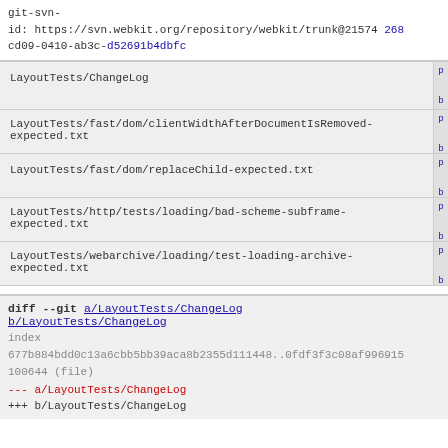git-svn-id: https://svn.webkit.org/repository/webkit/trunk@21574 268cd09-0410-ab3c-d52691b4dbfc
LayoutTests/ChangeLog
LayoutTests/fast/dom/clientWidthAfterDocumentIsRemoved-expected.txt
LayoutTests/fast/dom/replaceChild-expected.txt
LayoutTests/http/tests/loading/bad-scheme-subframe-expected.txt
LayoutTests/webarchive/loading/test-loading-archive-expected.txt
diff --git a/LayoutTests/ChangeLog b/LayoutTests/ChangeLog
index 677b884bdd0c13a6cbb5bb39aca8b2355d111448..0fdf3f3c08af996915
100644 (file)
--- a/LayoutTests/ChangeLog
+++ b/LayoutTests/ChangeLog